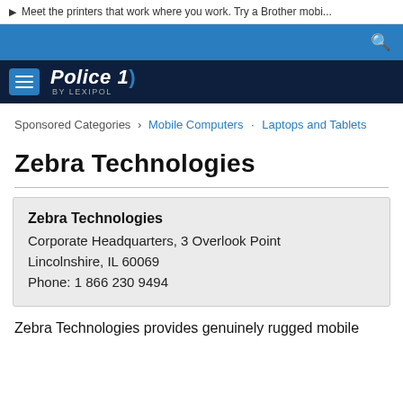▶ Meet the printers that work where you work. Try a Brother mobi...
Police 1 by Lexipol
Sponsored Categories › Mobile Computers · Laptops and Tablets
Zebra Technologies
Zebra Technologies
Corporate Headquarters, 3 Overlook Point
Lincolnshire, IL 60069
Phone: 1 866 230 9494
Zebra Technologies provides genuinely rugged mobile